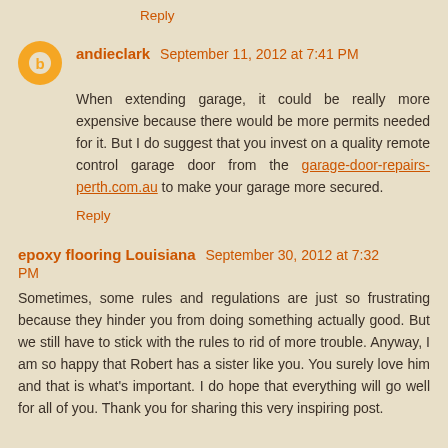Reply
andieclark September 11, 2012 at 7:41 PM
When extending garage, it could be really more expensive because there would be more permits needed for it. But I do suggest that you invest on a quality remote control garage door from the garage-door-repairs-perth.com.au to make your garage more secured.
Reply
epoxy flooring Louisiana September 30, 2012 at 7:32 PM
Sometimes, some rules and regulations are just so frustrating because they hinder you from doing something actually good. But we still have to stick with the rules to rid of more trouble. Anyway, I am so happy that Robert has a sister like you. You surely love him and that is what's important. I do hope that everything will go well for all of you. Thank you for sharing this very inspiring post.